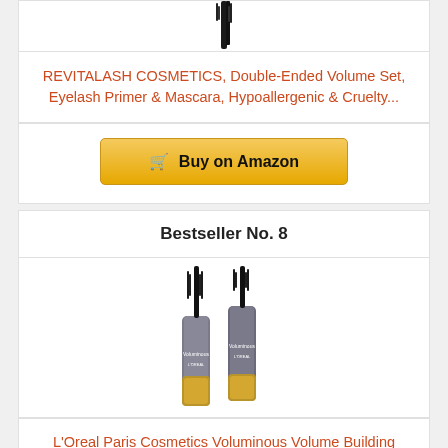[Figure (photo): Partial product image of eyelash primer/mascara tube at top of page, cropped]
REVITALASH COSMETICS, Double-Ended Volume Set, Eyelash Primer & Mascara, Hypoallergenic & Cruelty...
Buy on Amazon
Bestseller No. 8
[Figure (photo): Two L'Oreal Paris Voluminous mascara tubes with gold bases and black caps]
L'Oreal Paris Cosmetics Voluminous Volume Building Waterproof Mascara, Black, 2 Count
Buy on Amazon